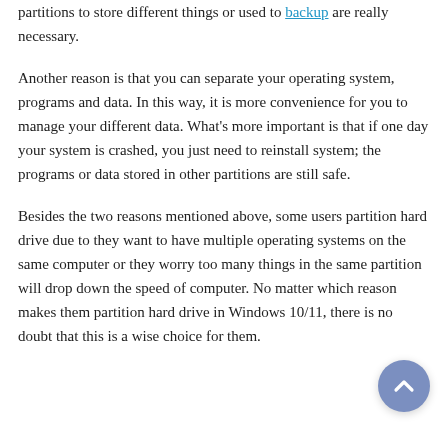partitions to store different things or used to backup are really necessary.
Another reason is that you can separate your operating system, programs and data. In this way, it is more convenience for you to manage your different data. What’s more important is that if one day your system is crashed, you just need to reinstall system; the programs or data stored in other partitions are still safe.
Besides the two reasons mentioned above, some users partition hard drive due to they want to have multiple operating systems on the same computer or they worry too many things in the same partition will drop down the speed of computer. No matter which reason makes them partition hard drive in Windows 10/11, there is no doubt that this is a wise choice for them.